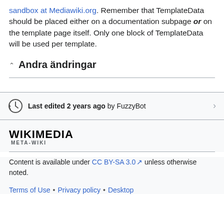sandbox at Mediawiki.org. Remember that TemplateData should be placed either on a documentation subpage or on the template page itself. Only one block of TemplateData will be used per template.
Andra ändringar
Last edited 2 years ago by FuzzyBot
[Figure (logo): Wikimedia META-WIKI logo]
Content is available under CC BY-SA 3.0 unless otherwise noted.
Terms of Use • Privacy policy • Desktop